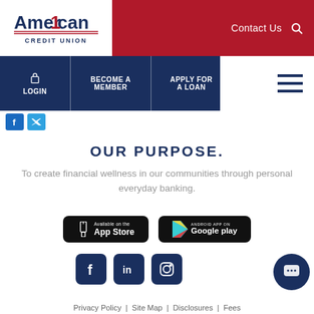American Credit Union — Contact Us
[Figure (logo): American 1 Credit Union logo — red stylized '1' replacing the 'I' in American, with 'CREDIT UNION' below]
LOGIN | BECOME A MEMBER | APPLY FOR A LOAN
OUR PURPOSE.
To create financial wellness in our communities through personal everyday banking.
[Figure (screenshot): App Store download button (black rounded rectangle, phone icon, 'Available on the App Store')]
[Figure (screenshot): Google Play download button (black rounded rectangle, colorful triangle icon, 'ANDROID APP ON Google play')]
[Figure (logo): Facebook icon button (dark navy square with 'f')]
[Figure (logo): LinkedIn icon button (dark navy square with 'in')]
[Figure (logo): Instagram icon button (dark navy square with camera outline)]
[Figure (illustration): Chat bubble button (dark navy circle with message/chat icon)]
Privacy Policy | Site Map | Disclosures | Fees